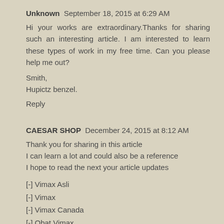Unknown  September 18, 2015 at 6:29 AM
Hi your works are extraordinary.Thanks for sharing such an interesting article. I am interested to learn these types of work in my free time. Can you please help me out?
Smith,
Hupictz benzel.
Reply
CAESAR SHOP  December 24, 2015 at 8:12 AM
Thank you for sharing in this article
I can learn a lot and could also be a reference
I hope to read the next your article updates
[-] Vimax Asli
[-] Vimax
[-] Vimax Canada
[-] Obat Vimax